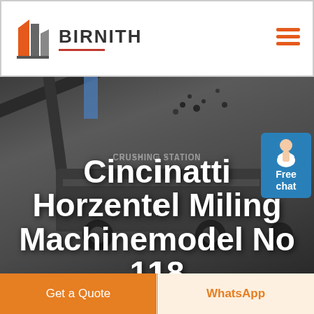[Figure (logo): Birnith company logo with orange and grey building/construction icon and BIRNITH brand name in bold, with red underline. Hamburger menu icon top right.]
[Figure (photo): Dark industrial photo of a crushing station / milling machinery with large conveyor belts and heavy equipment, monochrome/dark tone background.]
Cincinatti Horzentel Miling Machinemodel No 118
[Figure (other): Free chat button with blue background showing 'Free chat' in white text, with customer service agent figure above.]
Get a Quote
WhatsApp